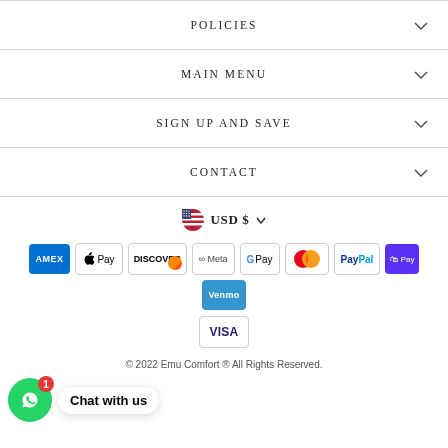POLICIES
MAIN MENU
SIGN UP AND SAVE
CONTACT
USD $
[Figure (other): Payment method icons: Amex, Apple Pay, Discover, Meta Pay, Google Pay, Mastercard, PayPal, Shop Pay, Venmo, Visa]
Chat with us
© 2022 Emu Comfort ® All Rights Reserved.